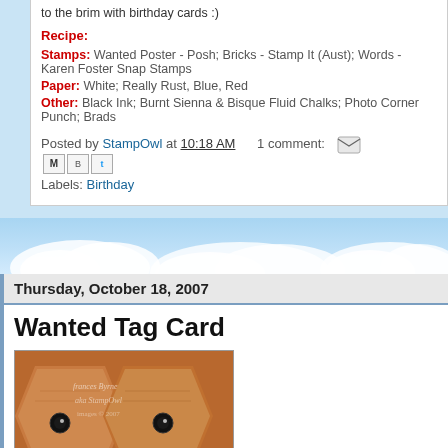to the brim with birthday cards :)
Recipe:
Stamps: Wanted Poster - Posh; Bricks - Stamp It (Aust); Words - Karen Foster Snap Stamps
Paper: White; Really Rust, Blue, Red
Other: Black Ink; Burnt Sienna & Bisque Fluid Chalks; Photo Corner Punch; Brads
Posted by StampOwl at 10:18 AM   1 comment:
Labels: Birthday
Thursday, October 18, 2007
Wanted Tag Card
[Figure (photo): Photo of two tag-shaped cards with owl faces, decorated with stamps and chalks, with watermark text 'Frances Byrne aka StampOwl' and copyright 2007]